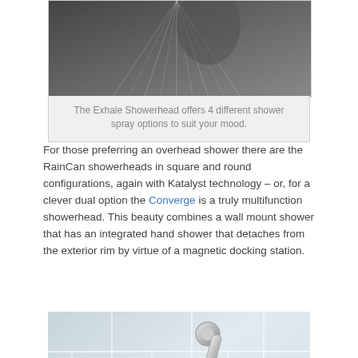[Figure (photo): Photo of shower spray from the Exhale Showerhead showing water spray streams]
The Exhale Showerhead offers 4 different shower spray options to suit your mood.
For those preferring an overhead shower there are the RainCan showerheads in square and round configurations, again with Katalyst technology – or, for a clever dual option the Converge is a truly multifunction showerhead. This beauty combines a wall mount shower that has an integrated hand shower that detaches from the exterior rim by virtue of a magnetic docking station.
[Figure (photo): Close-up photo of a chrome showerhead mounted on a wall with white subway tile background, being held by a hand]